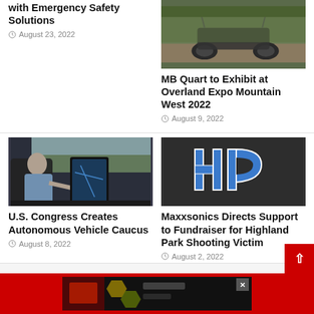with Emergency Safety Solutions
August 23, 2022
[Figure (photo): Off-road vehicle / buggy on dirt trail, outdoor vegetation]
MB Quart to Exhibit at Overland Expo Mountain West 2022
August 9, 2022
[Figure (photo): Person driving a car with large center console screen, interior view]
U.S. Congress Creates Autonomous Vehicle Caucus
August 8, 2022
[Figure (logo): HP athletic logo in blue letters on dark gray background]
Maxxsonics Directs Support to Fundraiser for Highland Park Shooting Victim
August 2, 2022
[Figure (photo): Advertisement banner at bottom of page, dark background with red border]